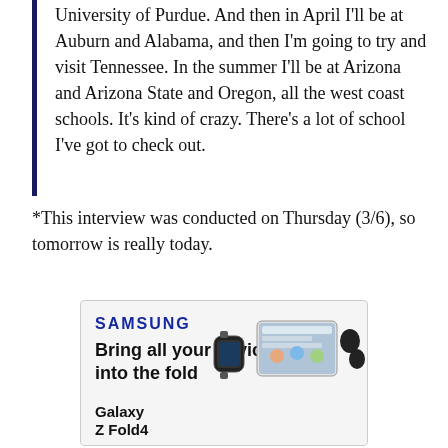University of Purdue. And then in April I'll be at Auburn and Alabama, and then I'm going to try and visit Tennessee. In the summer I'll be at Arizona and Arizona State and Oregon, all the west coast schools. It's kind of crazy. There's a lot of school I've got to check out.
*This interview was conducted on Thursday (3/6), so tomorrow is really today.
[Figure (other): Samsung advertisement: 'Bring all your devices into the fold' with LEARN MORE button and Galaxy Z Fold4 product imagery including a smartwatch, foldable phone, and earbuds]